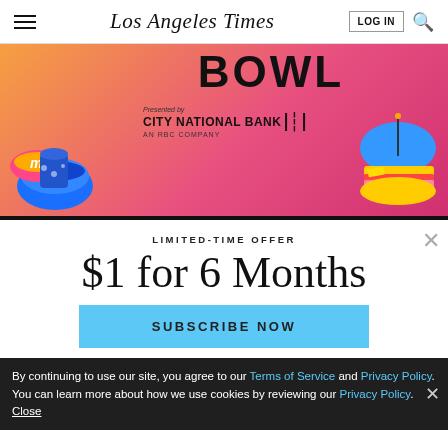Los Angeles Times
[Figure (photo): Food Bowl advertisement banner with colorful cartoon food illustrations, presented by City National Bank, an RBC Company. Gradient orange-to-pink background with bold black text reading 'BOWL' and cartoon illustrations of burgers and donuts.]
LIMITED-TIME OFFER
$1 for 6 Months
SUBSCRIBE NOW
By continuing to use our site, you agree to our Terms of Service and Privacy Policy. You can learn more about how we use cookies by reviewing our Privacy Policy. Close